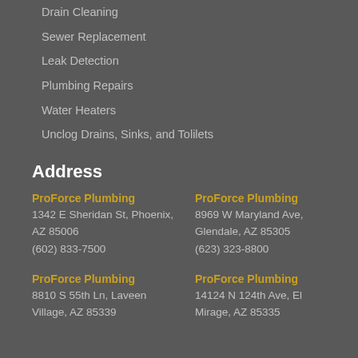Drain Cleaning
Sewer Replacement
Leak Detection
Plumbing Repairs
Water Heaters
Unclog Drains, Sinks, and Toilets
Address
ProForce Plumbing
1342 E Sheridan St, Phoenix, AZ 85006
(602) 833-7500
ProForce Plumbing
8969 W Maryland Ave, Glendale, AZ 85305
(623) 323-8800
ProForce Plumbing
8810 S 55th Ln, Laveen Village, AZ 85339
ProForce Plumbing
14124 N 124th Ave, El Mirage, AZ 85335